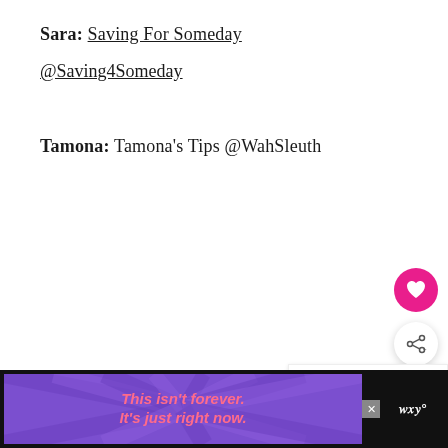Sara: Saving For Someday
@Saving4Someday
Tamona: Tamona's Tips @WahSleuth
[Figure (other): Pink heart favorite/like floating action button]
[Figure (other): Share floating action button (white circle with share icon)]
[Figure (other): What's Next promo widget with image thumbnail and text: WHAT'S NEXT → 12 Fun And Easy Easter...]
[Figure (other): Advertisement banner: purple background with rays, pink italic text 'This isn't forever. It's just right now.' with close button and logo]